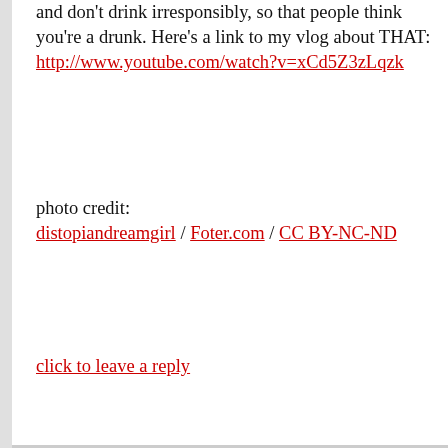and don't drink irresponsibly, so that people think you're a drunk. Here's a link to my vlog about THAT: http://www.youtube.com/watch?v=xCd5Z3zLqzk
photo credit: distopiandreamgirl / Foter.com / CC BY-NC-ND
click to leave a reply